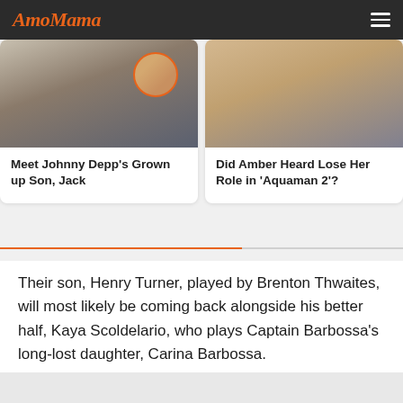AmoMama
[Figure (photo): Photo of Johnny Depp with sunglasses, with a small circular inset photo of a person sitting outdoors]
Meet Johnny Depp's Grown up Son, Jack
[Figure (photo): Photo of Amber Heard with blonde hair wearing a black outfit and a mask]
Did Amber Heard Lose Her Role in 'Aquaman 2'?
Their son, Henry Turner, played by Brenton Thwaites, will most likely be coming back alongside his better half, Kaya Scoldelario, who plays Captain Barbossa's long-lost daughter, Carina Barbossa.